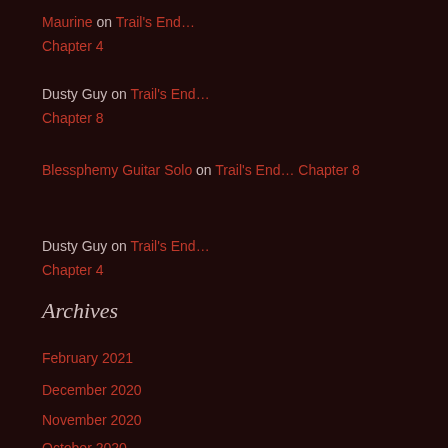Maurine on Trail's End… Chapter 4
Dusty Guy on Trail's End… Chapter 8
Blessphemy Guitar Solo on Trail's End… Chapter 8
Dusty Guy on Trail's End… Chapter 4
Archives
February 2021
December 2020
November 2020
October 2020